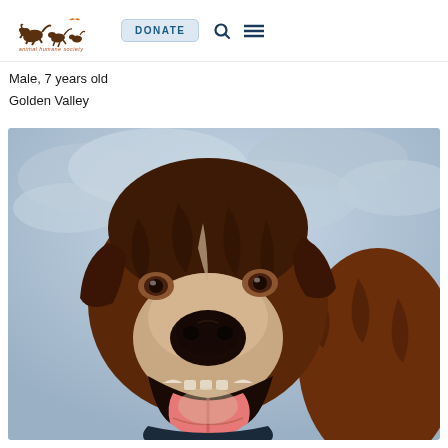Animal Humane Society — DONATE
Male, 7 years old
Golden Valley
[Figure (photo): Close-up photo of a brindle pit bull type dog with mouth open and tongue out, looking upward, against a cloudy sky background]